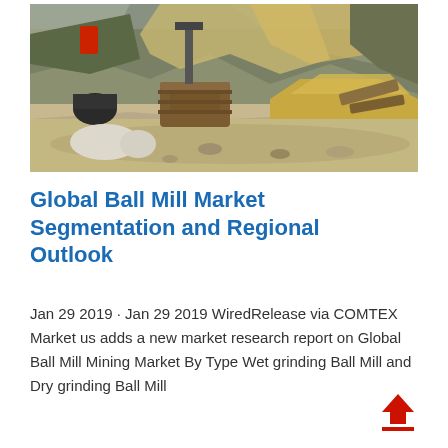[Figure (photo): Photograph of a mining site with equipment, wooden barrels/containers, rocky terrain, and earthworks in the background]
Global Ball Mill Market Segmentation and Regional Outlook
Jan 29 2019 · Jan 29 2019 WiredRelease via COMTEX Market us adds a new market research report on Global Ball Mill Mining Market By Type Wet grinding Ball Mill and Dry grinding Ball Mill